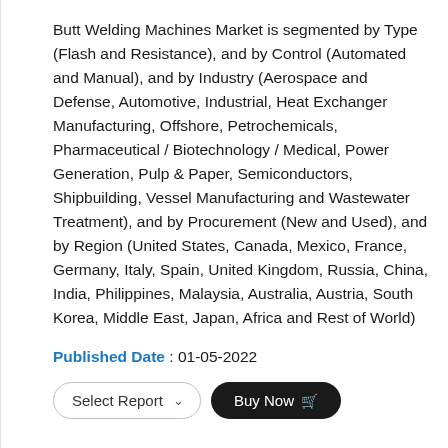Butt Welding Machines Market is segmented by Type (Flash and Resistance), and by Control (Automated and Manual), and by Industry (Aerospace and Defense, Automotive, Industrial, Heat Exchanger Manufacturing, Offshore, Petrochemicals, Pharmaceutical / Biotechnology / Medical, Power Generation, Pulp & Paper, Semiconductors, Shipbuilding, Vessel Manufacturing and Wastewater Treatment), and by Procurement (New and Used), and by Region (United States, Canada, Mexico, France, Germany, Italy, Spain, United Kingdom, Russia, China, India, Philippines, Malaysia, Australia, Austria, South Korea, Middle East, Japan, Africa and Rest of World)
Published Date : 01-05-2022